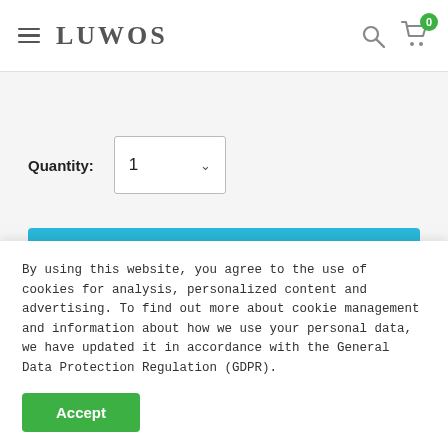LUWOS
Quantity:  1
Add to cart
By using this website, you agree to the use of cookies for analysis, personalized content and advertising. To find out more about cookie management and information about how we use your personal data, we have updated it in accordance with the General Data Protection Regulation (GDPR).
Accept
Women Chiffon See-Through Beach Bikini